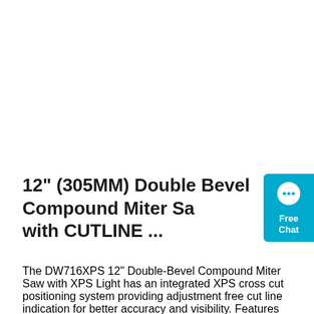12" (305MM) Double Bevel Compound Miter Sa with CUTLINE ...
The DW716XPS 12" Double-Bevel Compound Miter Saw with XPS Light has an integrated XPS cross cut positioning system providing adjustment free cut line indication for better accuracy and visibility. Features stainless steel miter detent plate and cam miter lock for repeatable accuracy and durability with easy adjustments. Tall sliding fences support 6-5/8" of nested crown and 6-1/2" of base ...
[Figure (other): Free Chat widget with speech bubble icon on cyan/teal background]
Get Price